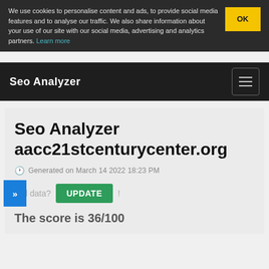We use cookies to personalise content and ads, to provide social media features and to analyse our traffic. We also share information about your use of our site with our social media, advertising and analytics partners. Learn more
OK
Seo Analyzer
Seo Analyzer aacc21stcenturycenter.org
Generated on March 14 2022 18:23 PM
Old data? UPDATE !
The score is 36/100